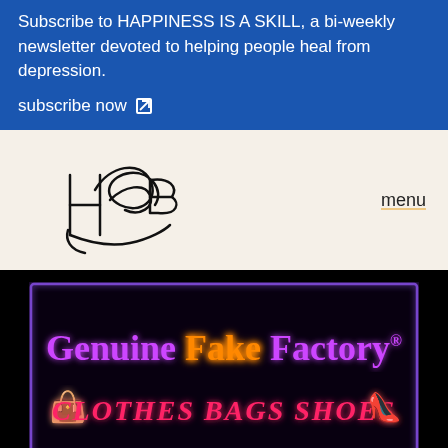Subscribe to HAPPINESS IS A SKILL, a bi-weekly newsletter devoted to helping people heal from depression.
subscribe now
[Figure (illustration): Hand-drawn signature/logo in black ink on cream background, resembling stylized letters HB or similar initials]
menu
[Figure (photo): Dark background neon sign reading 'Genuine Fake Factory' in purple and orange letters, with 'CLOTHES BAGS SHOES' in pink/red neon below, flanked by neon icons of a handbag and a high-heel shoe]